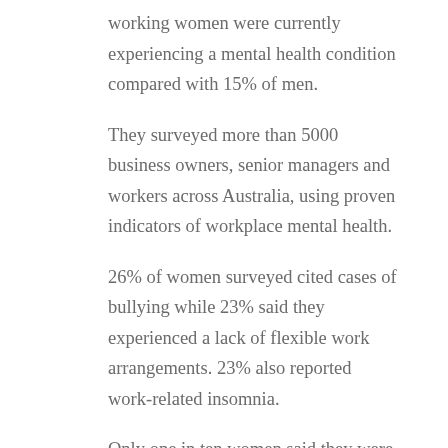working women were currently experiencing a mental health condition compared with 15% of men.
They surveyed more than 5000 business owners, senior managers and workers across Australia, using proven indicators of workplace mental health.
26% of women surveyed cited cases of bullying while 23% said they experienced a lack of flexible work arrangements. 23% also reported work-related insomnia.
Only one in ten women said they were strongly optimistic that the state of mental health and